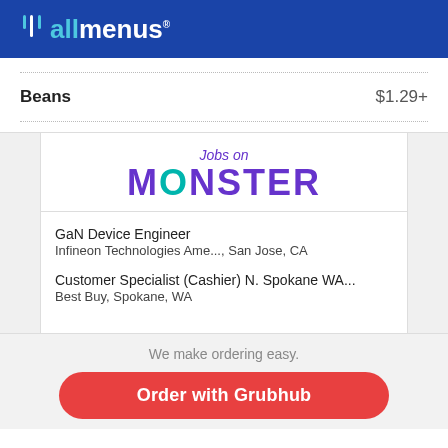[Figure (logo): allmenus logo on blue header bar]
Beans	$1.29+
[Figure (infographic): Jobs on Monster advertisement with job listings: GaN Device Engineer at Infineon Technologies Ame..., San Jose, CA and Customer Specialist (Cashier) N. Spokane WA... at Best Buy, Spokane, WA]
We make ordering easy.
Order with Grubhub